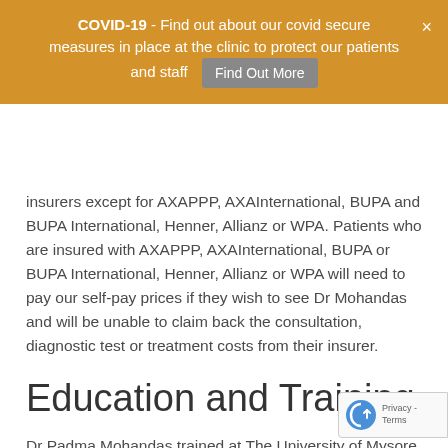COVID-19 - Find out about our covid secure measures in place at the clinic to protect our patients and staff  Find Out More
insurers except for AXAPPP, AXAInternational, BUPA and BUPA International, Henner, Allianz or WPA. Patients who are insured with AXAPPP, AXAInternational, BUPA or BUPA International, Henner, Allianz or WPA will need to pay our self-pay prices if they wish to see Dr Mohandas and will be unable to claim back the consultation, diagnostic test or treatment costs from their insurer.
Education and Training
Dr Padma Mohandas trained at The University of Mysore (now Rajiv Gandhi University) India, where she gained her Bachelor of Medicine and Bachelor of Surgery. Dr Mohandas moved to London for postgraduate training at St Thomas' NHS Foundation trust and St George's Hospital London, then trained as a GP then went on to study for a post